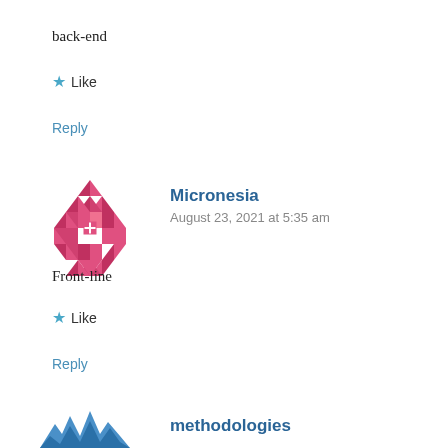back-end
★ Like
Reply
[Figure (illustration): Pink geometric mosaic avatar for user Micronesia]
Micronesia
August 23, 2021 at 5:35 am
Front-line
★ Like
Reply
[Figure (illustration): Blue mountain/wave geometric avatar for user methodologies]
methodologies